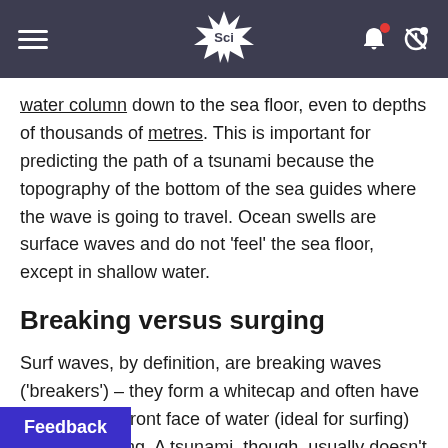Sci
water column down to the sea floor, even to depths of thousands of metres. This is important for predicting the path of a tsunami because the topography of the bottom of the sea guides where the wave is going to travel. Ocean swells are surface waves and do not 'feel' the sea floor, except in shallow water.
Breaking versus surging
Surf waves, by definition, are breaking waves ('breakers') – they form a whitecap and often have an unbroken front face of water (ideal for surfing) before breaking. A tsunami, though, usually doesn't break but instead surges onto it does break, it doesn't look like a
Feedback